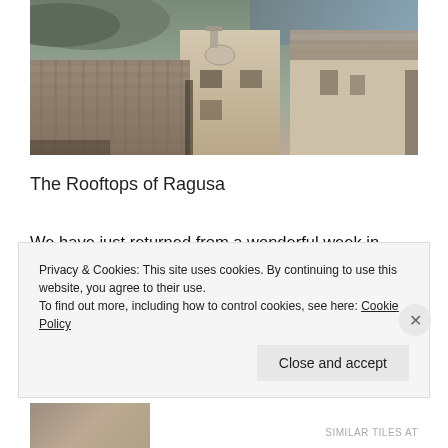[Figure (photo): Aerial/rooftop view of Ragusa, Sicily, showing terracotta tiled rooftops of historic buildings with mountains and blue sky in the background.]
The Rooftops of Ragusa
We have just returned from a wonderful week in Sicily. I am exhausted as we packed a lot in, and did more walking than I am used to. The city of Ragusa is beautiful
Privacy & Cookies: This site uses cookies. By continuing to use this website, you agree to their use.
To find out more, including how to control cookies, see here: Cookie Policy
Close and accept